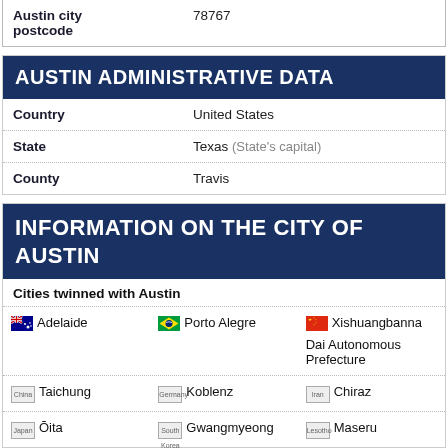|  |  |
| --- | --- |
| Austin city postcode | 78767 |
AUSTIN ADMINISTRATIVE DATA
| Field | Value |
| --- | --- |
| Country | United States |
| State | Texas (State's capital) |
| County | Travis |
INFORMATION ON THE CITY OF AUSTIN
Cities twinned with Austin
| City 1 | City 2 | City 3 |
| --- | --- | --- |
| Adelaide | Porto Alegre | Xishuangbanna Dai Autonomous Prefecture |
| China Taichung | Germany Koblenz | Iran Chiraz |
| Japan Ōita | South Korea Gwangmyeong | Lesotho Maseru |